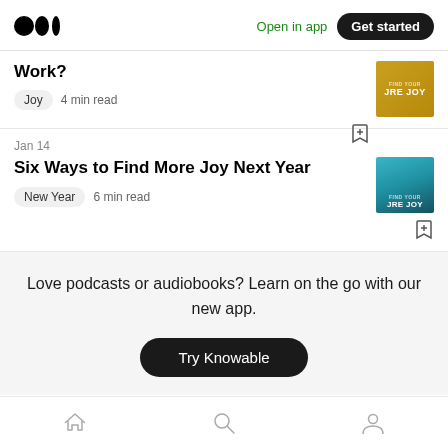Open in app | Get started
Work?
Joy  4 min read
Jan 14
Six Ways to Find More Joy Next Year
New Year  6 min read
Love podcasts or audiobooks? Learn on the go with our new app.
Try Knowable